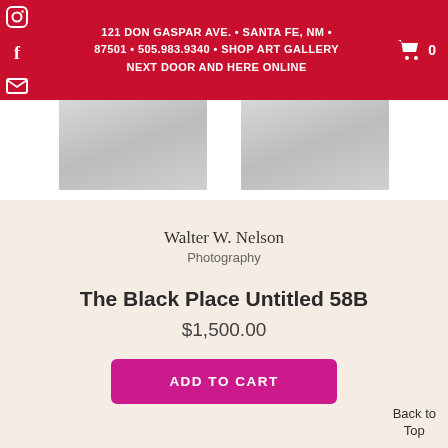121 DON GASPAR AVE. • SANTA FE, NM • 87501 • 505.983.9340 • SHOP ART GALLERY NEXT DOOR AND HERE ONLINE
[Figure (photo): Two partial photographs of artwork visible at top of page, shown as cropped images with grey tones]
Walter W. Nelson
Photography
The Black Place Untitled 58B
$1,500.00
ADD TO CART
Back to Top